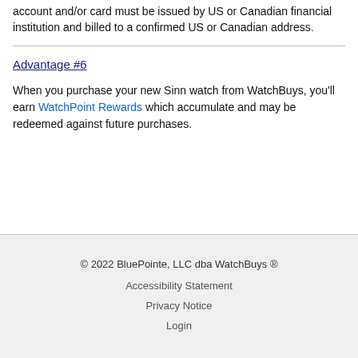account and/or card must be issued by US or Canadian financial institution and billed to a confirmed US or Canadian address.
Advantage #6
When you purchase your new Sinn watch from WatchBuys, you'll earn WatchPoint Rewards which accumulate and may be redeemed against future purchases.
© 2022 BluePointe, LLC dba WatchBuys ®
Accessibility Statement
Privacy Notice
Login